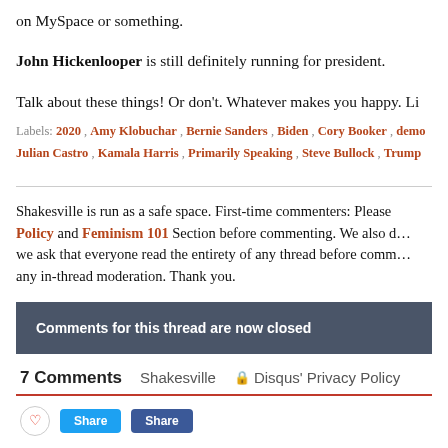on MySpace or something.
John Hickenlooper is still definitely running for president.
Talk about these things! Or don't. Whatever makes you happy. Li…
Labels: 2020, Amy Klobuchar, Bernie Sanders, Biden, Cory Booker, demo… Julian Castro, Kamala Harris, Primarily Speaking, Steve Bullock, Trump
Shakesville is run as a safe space. First-time commenters: Please read the Comment Policy and Feminism 101 Section before commenting. We also do… we ask that everyone read the entirety of any thread before comm… any in-thread moderation. Thank you.
Comments for this thread are now closed
7 Comments   Shakesville   🔒 Disqus' Privacy Policy